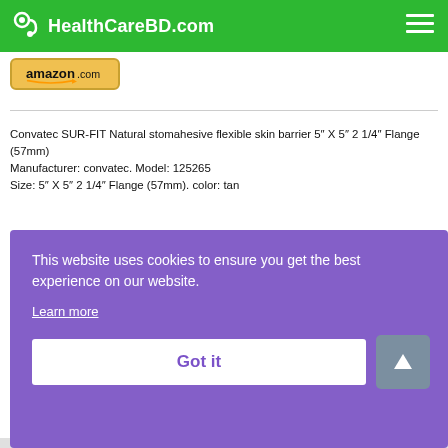HealthCareBD.com
[Figure (screenshot): Amazon.com yellow button/logo]
Convatec SUR-FIT Natural stomahesive flexible skin barrier 5" X 5" 2 1/4" Flange (57mm)
Manufacturer: convatec. Model: 125265
Size: 5" X 5" 2 1/4" Flange (57mm). color: tan
This website uses cookies to ensure you get the best experience on our website.
Learn more
Got it